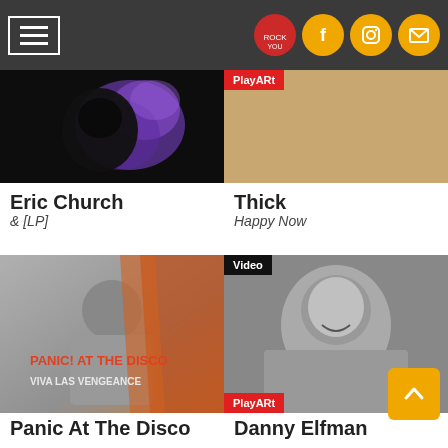Navigation header with hamburger menu and social icons
[Figure (photo): Dark photo with purple smoke silhouette - Eric Church album art]
[Figure (photo): Photo of tattooed blonde woman - Thick Happy Now album art, with PlayARt badge]
Eric Church
& [LP]
Thick
Happy Now
[Figure (photo): Panic At The Disco - Viva Las Vengeance album cover]
[Figure (photo): Black and white photo of tattooed bald man - Danny Elfman album, with Video badge and PlayARt badge]
Panic At The Disco
Danny Elfman